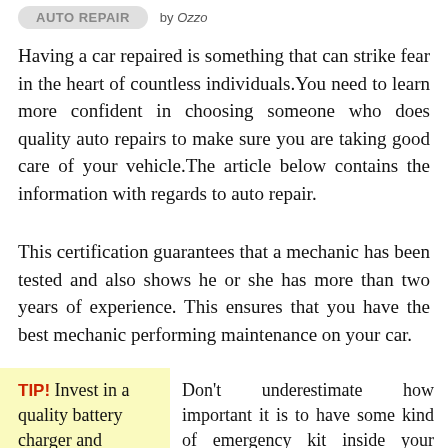AUTO REPAIR by Ozzo
Having a car repaired is something that can strike fear in the heart of countless individuals.You need to learn more confident in choosing someone who does quality auto repairs to make sure you are taking good care of your vehicle.The article below contains the information with regards to auto repair.
This certification guarantees that a mechanic has been tested and also shows he or she has more than two years of experience. This ensures that you have the best mechanic performing maintenance on your car.
TIP! Invest in a quality battery charger and always keep it in your car.
Don't underestimate how important it is to have some kind of emergency kit inside your vehicle. You ought to assemble a